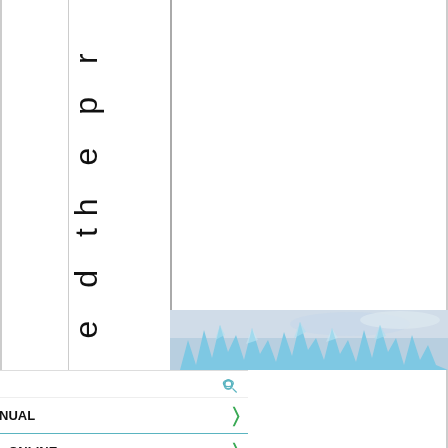Th
a s e d th e p r o
[Figure (photo): Glacier or ice crystal formation against a cloudy sky, blue tones]
Search for
1.  GET INSTRUCTION MANUAL
2.  INSTRUCTION MANUAL ONLINE
Ad | Business Focus